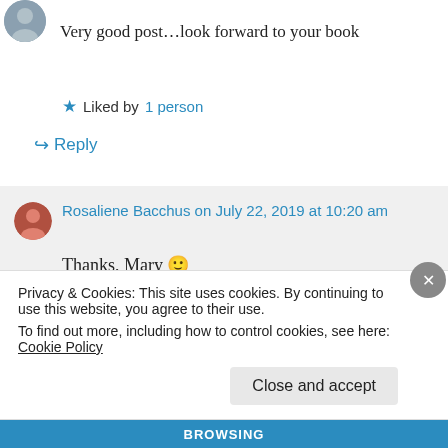[Figure (photo): Small circular avatar image at top left, partially visible]
Very good post...look forward to your book
★ Liked by 1 person
↳ Reply
Rosaliene Bacchus on July 22, 2019 at 10:20 am
Thanks, Mary 🙂
★ Liked by 1 person
Privacy & Cookies: This site uses cookies. By continuing to use this website, you agree to their use.
To find out more, including how to control cookies, see here: Cookie Policy
Close and accept